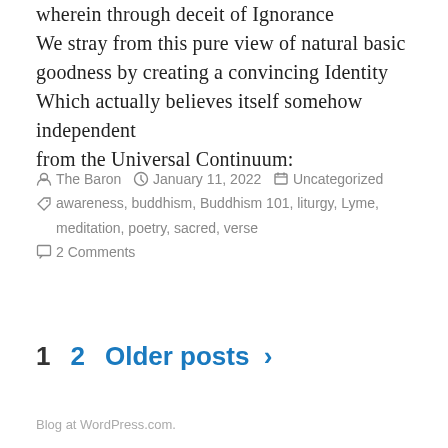wherein through deceit of Ignorance We stray from this pure view of natural basic goodness by creating a convincing Identity Which actually believes itself somehow independent from the Universal Continuum:
By The Baron  January 11, 2022  Uncategorized  awareness, buddhism, Buddhism 101, liturgy, Lyme, meditation, poetry, sacred, verse  2 Comments
1  2  Older posts >
Blog at WordPress.com.